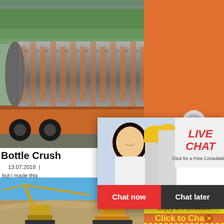[Figure (photo): Top strip partially visible from previous section - trees and industrial site]
[Figure (photo): Large ball mill industrial cylinder on flatbed truck, trees in background]
[Figure (photo): Live chat popup overlay showing workers in hard hats, with LIVE CHAT title in red, Chat now and Chat later buttons]
Bottle Crush
13.07.2018  but i made this recyclers who g
[Figure (infographic): Right sidebar with orange background showing crusher/mill machine product thumbnails, 3% discount yellow banner, Click to Chat text, and Enquiry label]
More
Get Price
Email contact
[Figure (photo): Bottom section showing quarry/construction site with crane and excavator equipment]